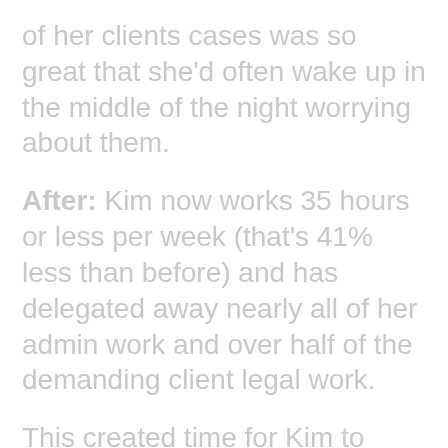of her clients cases was so great that she'd often wake up in the middle of the night worrying about them.
After: Kim now works 35 hours or less per week (that's 41% less than before) and has delegated away nearly all of her admin work and over half of the demanding client legal work.
This created time for Kim to focus on sales and as a result increased